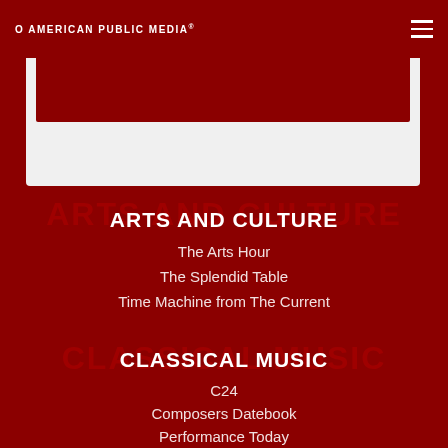O AMERICAN PUBLIC MEDIA
ARTS AND CULTURE
The Arts Hour
The Splendid Table
Time Machine from The Current
CLASSICAL MUSIC
C24
Composers Datebook
Performance Today
Pipedreams
SymphonyCast